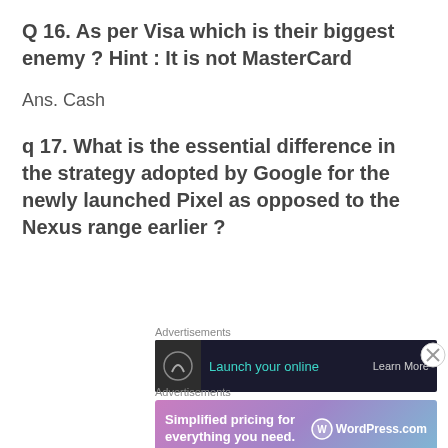Q 16. As per Visa which is their biggest enemy ? Hint : It is not MasterCard
Ans. Cash
q 17. What is the essential difference in the strategy adopted by Google for the newly launched Pixel as opposed to the Nexus range earlier ?
Advertisements
[Figure (screenshot): Advertisement banner with dark background showing 'Launch your online' in teal text with a logo circle and 'Learn More' text]
Advertisements
[Figure (screenshot): WordPress.com advertisement with gradient purple-blue background showing 'Simplified pricing for everything you need.' with WordPress.com logo]